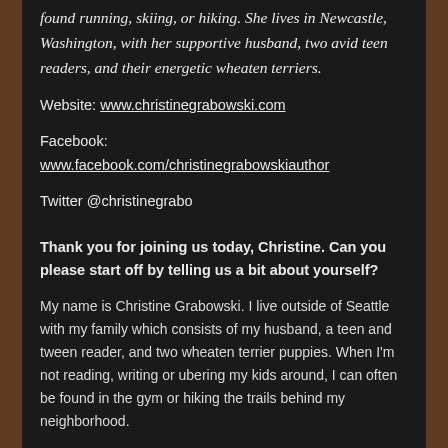found running, skiing, or hiking. She lives in Newcastle, Washington, with her supportive husband, two avid teen readers, and their energetic wheaten terriers.
Website: www.christinegrabowski.com
Facebook:
www.facebook.com/christinegrabowskiauthor
Twitter @christinegrabo
Thank you for joining us today, Christine. Can you please start off by telling us a bit about yourself?
My name is Christine Grabowski. I live outside of Seattle with my family which consists of my husband, a teen and tween reader, and two wheaten terrier puppies. When I'm not reading, writing or ubering my kids around, I can often be found in the gym or hiking the trails behind my neighborhood.